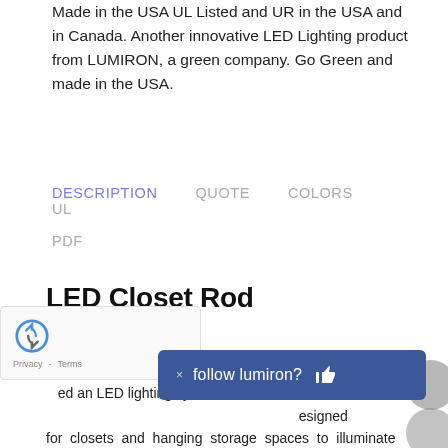Made in the USA UL Listed and UR in the USA and in Canada. Another innovative LED Lighting product from LUMIRON, a green company. Go Green and made in the USA.
DESCRIPTION   QUOTE   COLORS   UL
PDF
LED Closet Rod
LED CLOSET ROD is an LED linear closet rod that has ed an LED lighting system inside the extrusion to esigned for closets and hanging storage spaces to illuminate